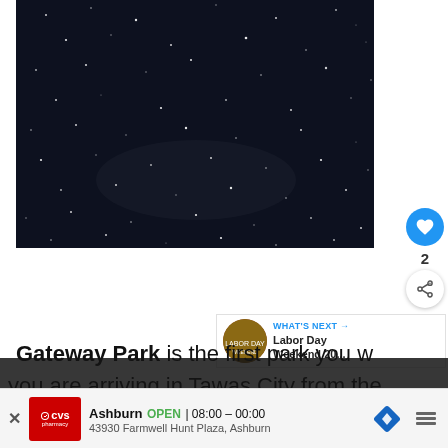[Figure (photo): Night sky photo showing stars against a dark navy/black background, taken at Gateway Park in Tawas City]
2
WHAT'S NEXT → Labor Day Weekend 20...
Gateway Park is the first park you w... you are arriving in Tawas City from the south. Th... ard to
Ashburn OPEN | 08:00 – 00:00 43930 Farmwell Hunt Plaza, Ashburn